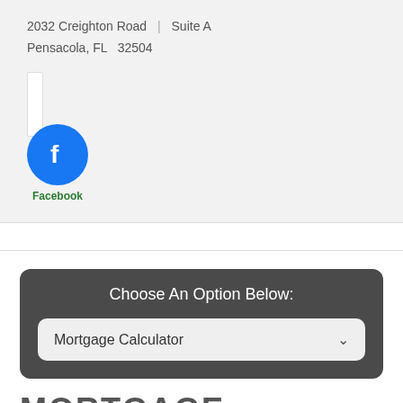2032 Creighton Road  |  Suite A
Pensacola, FL  32504
[Figure (logo): Facebook logo icon - blue circle with white lowercase letter f, with green 'Facebook' label below]
Choose An Option Below:
Mortgage Calculator
MORTGAGE